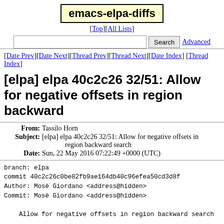emacs-elpa-diffs [Top][All Lists] Search Advanced
[Date Prev][Date Next][Thread Prev][Thread Next][Date Index][Thread Index]
[elpa] elpa 40c2c26 32/51: Allow for negative offsets in region backward
From: Tassilo Horn
Subject: [elpa] elpa 40c2c26 32/51: Allow for negative offsets in region backward search
Date: Sun, 22 May 2016 07:22:49 +0000 (UTC)
branch: elpa
commit 40c2c26c0be82fb9ae164db40c96efea50cd3d8f
Author: Mosè Giordano <address@hidden>
Commit: Mosè Giordano <address@hidden>

    Allow for negative offsets in region backward search